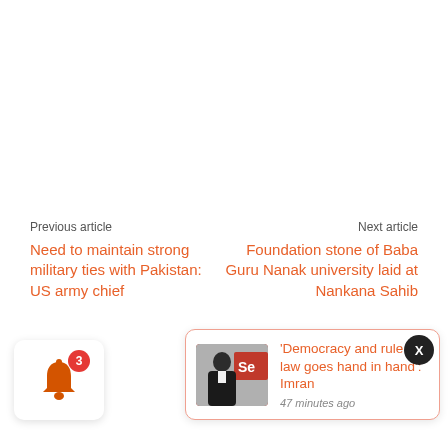Previous article
Need to maintain strong military ties with Pakistan: US army chief
Next article
Foundation stone of Baba Guru Nanak university laid at Nankana Sahib
[Figure (screenshot): Notification popup showing article: 'Democracy and rule of law goes hand in hand': Imran, 47 minutes ago, with thumbnail photo of a man at podium with 'Se' sign visible]
'Democracy and rule of law goes hand in hand': Imran
47 minutes ago
[Figure (infographic): Bell notification icon with red badge showing count 3]